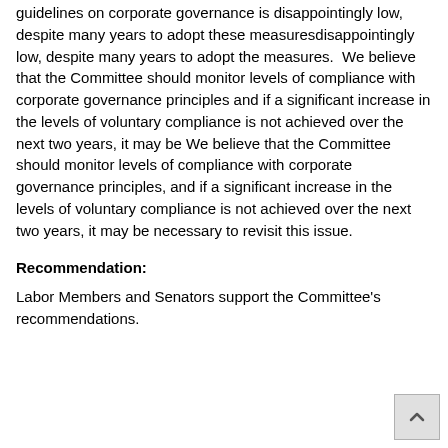guidelines on corporate governance is disappointingly low, despite many years to adopt these measuresdisappointingly low, despite many years to adopt the measures.  We believe that the Committee should monitor levels of compliance with corporate governance principles and if a significant increase in the levels of voluntary compliance is not achieved over the next two years, it may be We believe that the Committee should monitor levels of compliance with corporate governance principles, and if a significant increase in the levels of voluntary compliance is not achieved over the next two years, it may be necessary to revisit this issue.
Recommendation:
Labor Members and Senators support the Committee's recommendations.